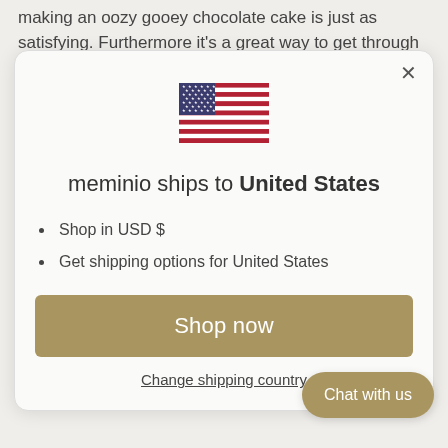making an oozy gooey chocolate cake is just as satisfying. Furthermore it's a great way to get through
[Figure (screenshot): Modal dialog popup with a US flag, text 'meminio ships to United States', bullet points 'Shop in USD $' and 'Get shipping options for United States', a 'Shop now' button in tan/gold color, and a 'Change shipping country' link.]
meminio ships to United States
Shop in USD $
Get shipping options for United States
Shop now
Change shipping country
Chat with us